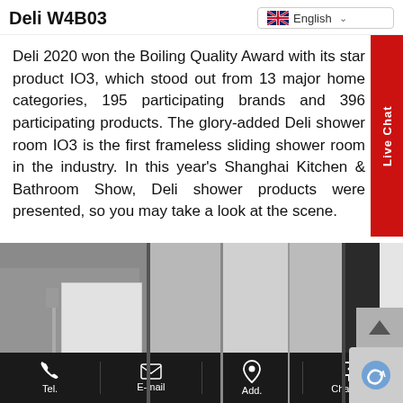Deli W4B03
Deli 2020 won the Boiling Quality Award with its star product IO3, which stood out from 13 major home categories, 195 participating brands and 396 participating products. The glory-added Deli shower room IO3 is the first frameless sliding shower room in the industry. In this year's Shanghai Kitchen & Bathroom Show, Deli shower products were presented, so you may take a look at the scene.
[Figure (photo): Indoor photo of a Deli shower room/frameless sliding shower room displayed at a trade show, shown in grayscale with glass panels and shower enclosure]
Tel.  E-mail  Add.  Chat Now